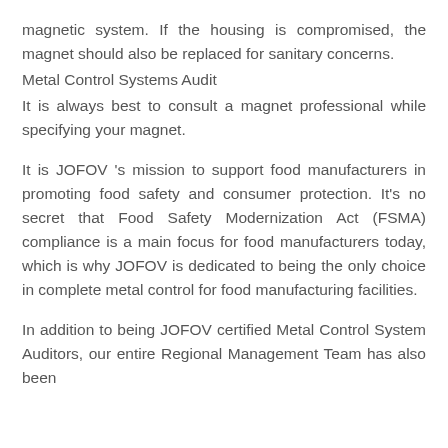magnetic system. If the housing is compromised, the magnet should also be replaced for sanitary concerns.
Metal Control Systems Audit
It is always best to consult a magnet professional while specifying your magnet.
It is JOFOV 's mission to support food manufacturers in promoting food safety and consumer protection. It's no secret that Food Safety Modernization Act (FSMA) compliance is a main focus for food manufacturers today, which is why JOFOV is dedicated to being the only choice in complete metal control for food manufacturing facilities.
In addition to being JOFOV certified Metal Control System Auditors, our entire Regional Management Team has also been